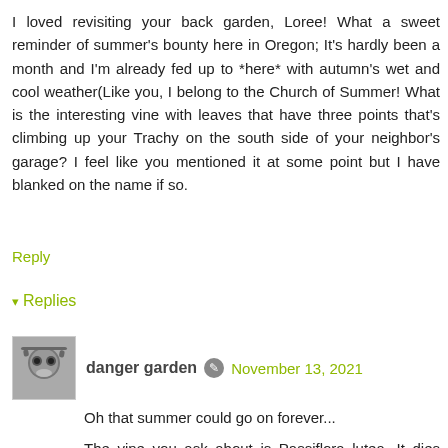I loved revisiting your back garden, Loree! What a sweet reminder of summer's bounty here in Oregon; It's hardly been a month and I'm already fed up to *here* with autumn's wet and cool weather(Like you, I belong to the Church of Summer! What is the interesting vine with leaves that have three points that's climbing up your Trachy on the south side of your neighbor's garage? I feel like you mentioned it at some point but I have blanked on the name if so.
Reply
▾ Replies
danger garden  November 13, 2021
Oh that summer could go on forever...
The vine you ask about is Passiflora lutea. It dies back in the fall but resprouts in the spring. The flowers are so tiny (about the size of the end of my pinky finger) they're easy to miss, luckily I love the leaves. I've promised Heather a piece,